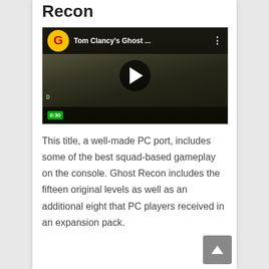Recon
[Figure (screenshot): YouTube video thumbnail for Tom Clancy's Ghost Recon with play button overlay]
This title, a well-made PC port, includes some of the best squad-based gameplay on the console. Ghost Recon includes the fifteen original levels as well as an additional eight that PC players received in an expansion pack.